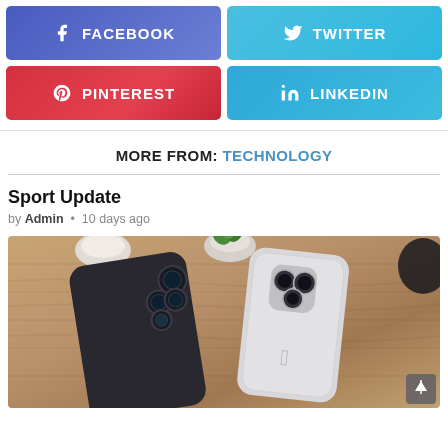[Figure (infographic): Social media share buttons: Facebook (purple-blue), Twitter (light blue), Pinterest (red), LinkedIn (blue)]
MORE FROM: TECHNOLOGY
Sport Update
by Admin • 10 days ago
[Figure (photo): Two smartphones (dark Samsung and silver iPhone) on a wooden table with small plant pots]